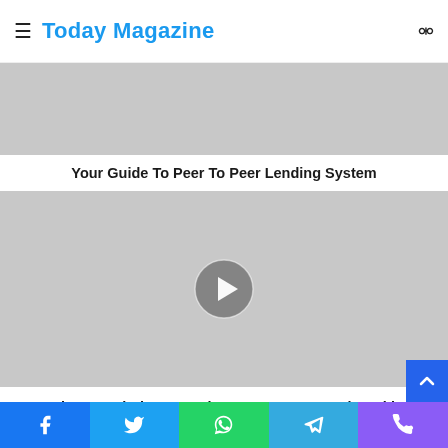Today Magazine
[Figure (photo): Gray placeholder image for article about Peer To Peer Lending System]
Your Guide To Peer To Peer Lending System
[Figure (photo): Gray placeholder image with play/next button overlay for article about Local SEO Solutions]
Local SEO Solutions: 10 Tips To Improve Local Rankings
Social share bar: Facebook, Twitter, WhatsApp, Telegram, Phone